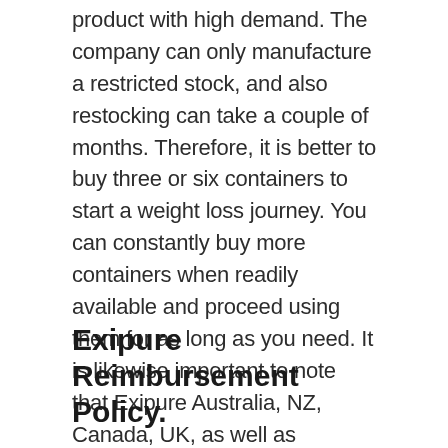product with high demand. The company can only manufacture a restricted stock, and also restocking can take a couple of months. Therefore, it is better to buy three or six containers to start a weight loss journey. You can constantly buy more containers when readily available and proceed using them for as long as you need. It is likewise important to note that Exipure Australia, NZ, Canada, UK, as well as customers from other countries around the globe should additionally position their orders on the official internet site discussed over.
Exipure Reimbursement Policy.